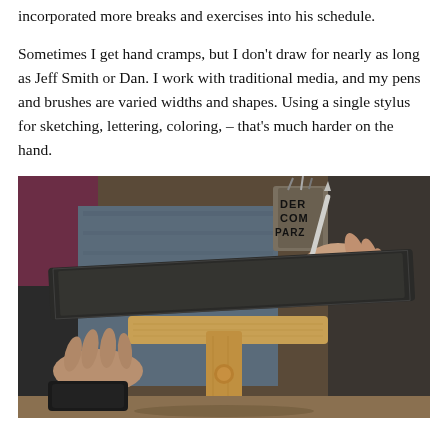incorporated more breaks and exercises into his schedule.
Sometimes I get hand cramps, but I don't draw for nearly as long as Jeff Smith or Dan. I work with traditional media, and my pens and brushes are varied widths and shapes. Using a single stylus for sketching, lettering, coloring, – that's much harder on the hand.
[Figure (photo): A person using a stylus to draw on a tablet mounted on a wooden easel stand. The person is wearing a denim jacket. There is a cup with brushes/pens in the background with partial text visible. The person's other hand rests on a desk near what appears to be a wallet or pouch.]